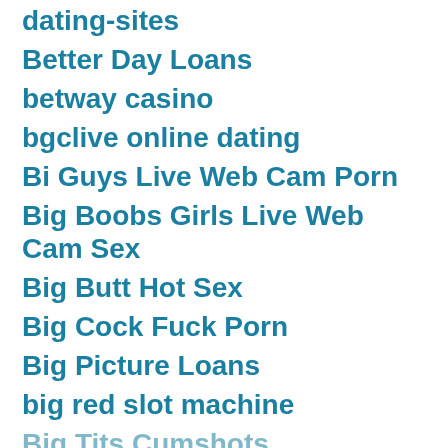dating-sites
Better Day Loans
betway casino
bgclive online dating
Bi Guys Live Web Cam Porn
Big Boobs Girls Live Web Cam Sex
Big Butt Hot Sex
Big Cock Fuck Porn
Big Picture Loans
big red slot machine
Big Tits Cumshots